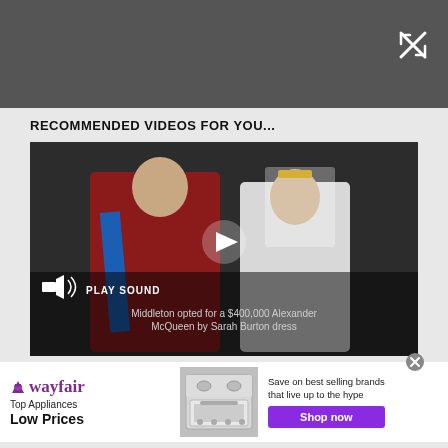[Figure (screenshot): Dark gray top bar with a white close/expand icon (X with arrows) in the top right corner]
RECOMMENDED VIDEOS FOR YOU...
[Figure (screenshot): Video player showing Prince William in red military uniform and Kate Middleton in white wedding dress walking together. A play button is visible in the center. Text at bottom left reads 'PLAY SOUND' with a speaker icon. Caption reads: Middleton opted for a $400,000 Alexander McQueen by Sarah Burton dress]
[Figure (infographic): Wayfair advertisement banner: Wayfair logo on left, 'Top Appliances Low Prices' text, image of a stove in center, and 'Save on best selling brands that live up to the hype' with a purple 'Shop now' button on the right]